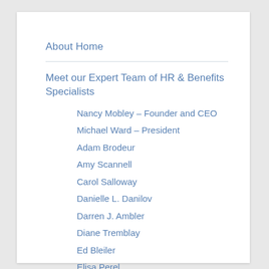About Home
Meet our Expert Team of HR & Benefits Specialists
Nancy Mobley – Founder and CEO
Michael Ward – President
Adam Brodeur
Amy Scannell
Carol Salloway
Danielle L. Danilov
Darren J. Ambler
Diane Tremblay
Ed Bleiler
Elisa Perel
Elizabeth Bernaiche